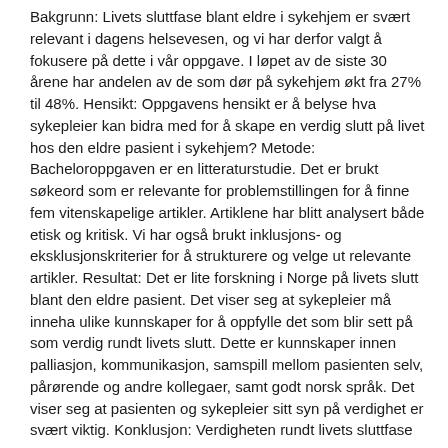Bakgrunn: Livets sluttfase blant eldre i sykehjem er svært relevant i dagens helsevesen, og vi har derfor valgt å fokusere på dette i vår oppgave. I løpet av de siste 30 årene har andelen av de som dør på sykehjem økt fra 27% til 48%. Hensikt: Oppgavens hensikt er å belyse hva sykepleier kan bidra med for å skape en verdig slutt på livet hos den eldre pasient i sykehjem? Metode: Bacheloroppgaven er en litteraturstudie. Det er brukt søkeord som er relevante for problemstillingen for å finne fem vitenskapelige artikler. Artiklene har blitt analysert både etisk og kritisk. Vi har også brukt inklusjons- og eksklusjonskriterier for å strukturere og velge ut relevante artikler. Resultat: Det er lite forskning i Norge på livets slutt blant den eldre pasient. Det viser seg at sykepleier må inneha ulike kunnskaper for å oppfylle det som blir sett på som verdig rundt livets slutt. Dette er kunnskaper innen palliasjon, kommunikasjon, samspill mellom pasienten selv, pårørende og andre kollegaer, samt godt norsk språk. Det viser seg at pasienten og sykepleier sitt syn på verdighet er svært viktig. Konklusjon: Verdigheten rundt livets sluttfase hos den eldre i sykehjem er påvirket av flere områder. Det viser at det er viktig å vite hva sykepleier og pasient mener verdighet er, og hva som påvirker dette. Kunnskapene hos sykepleier er et viktig grunnlag for å kunne utøve verdig pleie- og omsorg, og handlingene påvirkes av kunnskapene sykepleier har.